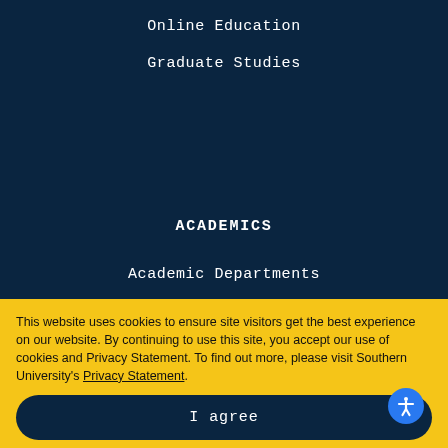Online Education
Graduate Studies
ACADEMICS
Academic Departments
Academic Programs
Financial Aid
Library Resources
Academic Calendars
This website uses cookies to ensure site visitors get the best experience on our website. By continuing to use this site, you accept our use of cookies and Privacy Statement. To find out more, please visit Southern University's Privacy Statement.
I agree